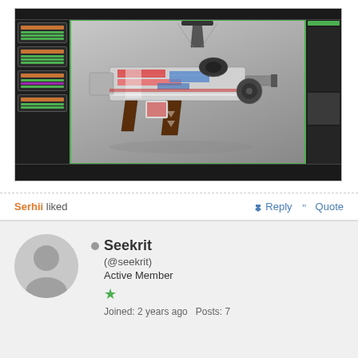[Figure (screenshot): Blender 3D software interface showing a textured assault rifle/weapon model with red, white, and blue patterns. Left panel shows node editor with orange-titled node blocks and green rows. Right panel shows scene hierarchy/properties. Green outline borders the 3D viewport.]
Serhii liked
Reply  Quote
Seekrit
(@seekrit)
Active Member
Joined: 2 years ago  Posts: 7